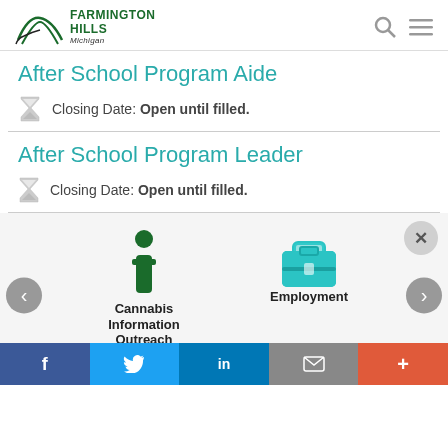Farmington Hills Michigan
After School Program Aide
Closing Date: Open until filled.
After School Program Leader
Closing Date: Open until filled.
[Figure (infographic): Cannabis Information Outreach icon (dark green info letter i with dot) and Employment icon (teal briefcase), with left/right navigation arrows and a close button]
Cannabis Information Outreach
Employment
Social share bar: Facebook, Twitter, LinkedIn, Email, More